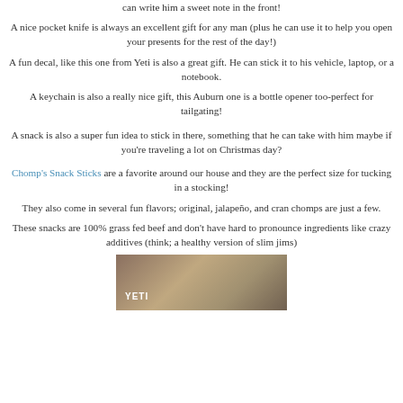can write him a sweet note in the front!
A nice pocket knife is always an excellent gift for any man (plus he can use it to help you open your presents for the rest of the day!)
A fun decal, like this one from Yeti is also a great gift. He can stick it to his vehicle, laptop, or a notebook.
A keychain is also a really nice gift, this Auburn one is a bottle opener too-perfect for tailgating!
A snack is also a super fun idea to stick in there, something that he can take with him maybe if you're traveling a lot on Christmas day?
Chomp's Snack Sticks are a favorite around our house and they are the perfect size for tucking in a stocking!
They also come in several fun flavors; original, jalapeño, and cran chomps are just a few.
These snacks are 100% grass fed beef and don't have hard to pronounce ingredients like crazy additives (think; a healthy version of slim jims)
[Figure (photo): A photo showing what appears to be a YETI branded product with a person's hair visible in the background]